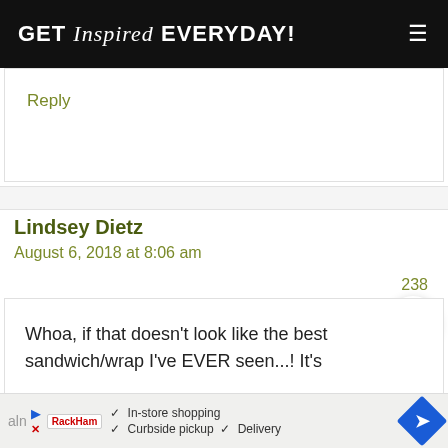GET Inspired EVERYDAY!
Reply
Lindsey Dietz
August 6, 2018 at 8:06 am
238
Whoa, if that doesn't look like the best sandwich/wrap I've EVER seen...! It's
aln  ✓ In-store shopping  ✓ Curbside pickup  ✓ Delivery